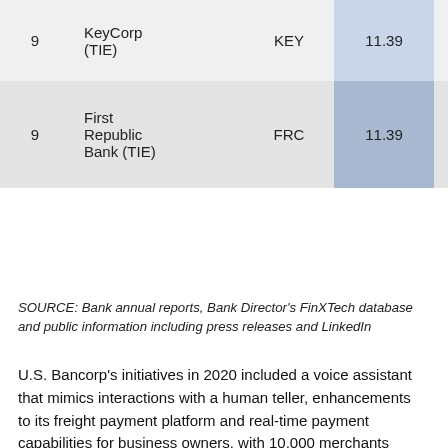|  | Company | Ticker | Score | Total Assets |  |
| --- | --- | --- | --- | --- | --- |
| 9 | KeyCorp (TIE) | KEY | 11.39 | $246,540 |  |
| 9 | First Republic Bank (TIE) | FRC | 11.39 | $298,632 |  |
SOURCE: Bank annual reports, Bank Director's FinXTech database and public information including press releases and LinkedIn
U.S. Bancorp's initiatives in 2020 included a voice assistant that mimics interactions with a human teller, enhancements to its freight payment platform and real-time payment capabilities for business owners, with 10,000 merchants using those features as of June 2021. Roughly a third of